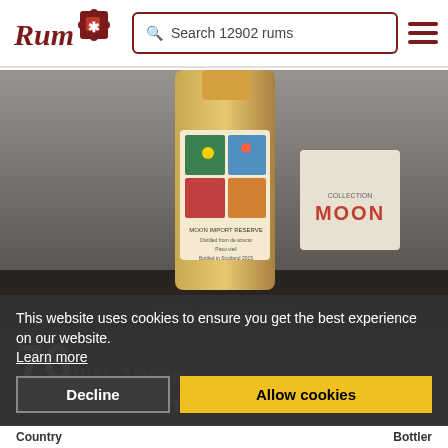Rum Ratings — Search 12902 rums
[Figure (photo): Rum bottle product photo showing Moon Import Reserve collection bottle with tropical bird artwork label]
76/100  7 ratings
COMMUNITY RATING ★
This website uses cookies to ensure you get the best experience on our website. Learn more
Decline  Allow cookies
Facts about the rum
Country                    Bottler